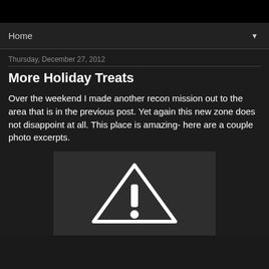Home
Thursday, December 27, 2012
More Holiday Treats
Over the weekend I made another recon mission out to the area that is in the previous post.  Yet again this new zone does not disappoint at all.  This place is amazing- here are a couple photo excerpts.
[Figure (photo): Image failed to load — warning/exclamation triangle icon shown on dark background]